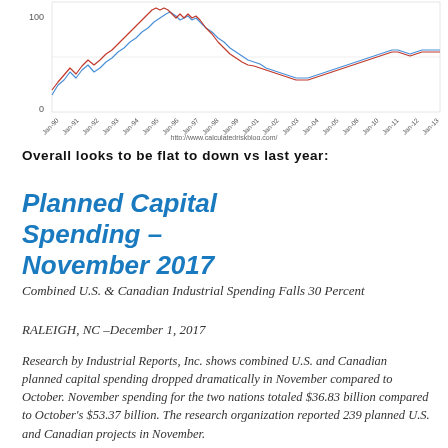[Figure (continuous-plot): Time series line chart with blue and red lines showing data from Jan-90 to Jan-19, with y-axis labeled at 0 and 100. URL: http://www.calculatedriskblog.com/ shown at bottom.]
Overall looks to be flat to down vs last year:
Planned Capital Spending – November 2017
Combined U.S. & Canadian Industrial Spending Falls 30 Percent
RALEIGH, NC –December 1, 2017
Research by Industrial Reports, Inc. shows combined U.S. and Canadian planned capital spending dropped dramatically in November compared to October. November spending for the two nations totaled $36.83 billion compared to October's $53.37 billion. The research organization reported 239 planned U.S. and Canadian projects in November.